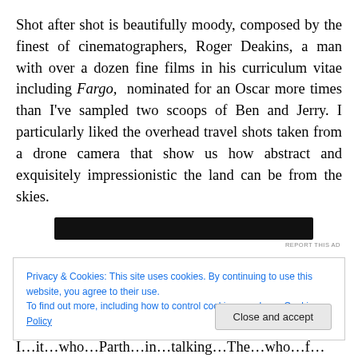Shot after shot is beautifully moody, composed by the finest of cinematographers, Roger Deakins, a man with over a dozen fine films in his curriculum vitae including Fargo, nominated for an Oscar more times than I've sampled two scoops of Ben and Jerry. I particularly liked the overhead travel shots taken from a drone camera that show us how abstract and exquisitely impressionistic the land can be from the skies.
[Figure (other): Dark advertisement banner]
REPORT THIS AD
Privacy & Cookies: This site uses cookies. By continuing to use this website, you agree to their use.
To find out more, including how to control cookies, see here: Cookie Policy
Close and accept
I…it…who…Parth…in…talking…The…who…f…